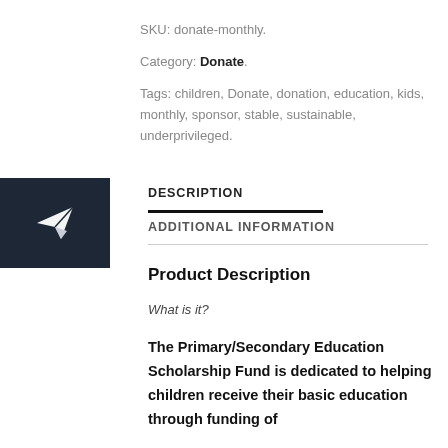SKU: donate-monthly.
Category: Donate.
Tags: children, Donate, donation, education, kids, monthly, sponsor, stable, sustainable, underprivileged.
[Figure (logo): Dark square icon with white paper airplane / send icon]
DESCRIPTION
ADDITIONAL INFORMATION
Product Description
What is it?
The Primary/Secondary Education Scholarship Fund is dedicated to helping children receive their basic education through funding of